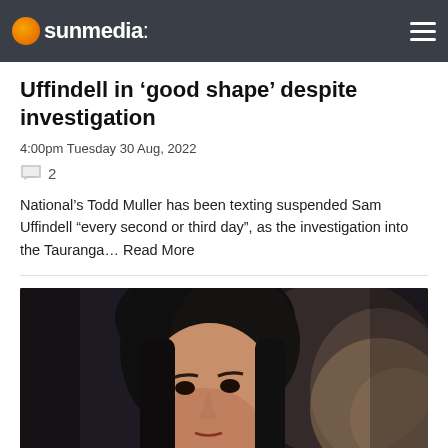sunmedia
Uffindell in ‘good shape’ despite investigation
4:00pm Tuesday 30 Aug, 2022
2
National’s Todd Muller has been texting suspended Sam Uffindell “every second or third day”, as the investigation into the Tauranga… Read More
[Figure (photo): Close-up photograph of a woman with dark hair, looking slightly to the side, against a dark blurred background.]